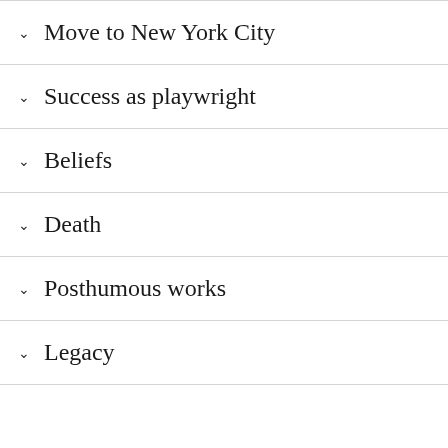Move to New York City
Success as playwright
Beliefs
Death
Posthumous works
Legacy